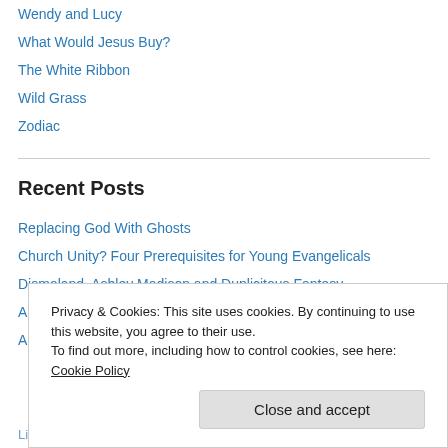Wendy and Lucy
What Would Jesus Buy?
The White Ribbon
Wild Grass
Zodiac
Recent Posts
Replacing God With Ghosts
Church Unity? Four Prerequisites for Young Evangelicals
Dismaland, Ashley Madison and Duplicitous Fantasy
Abortion, the Environment and the Exile of Autonomy
Amy
Lifting the Burden of Self-Made Identity
Privacy & Cookies: This site uses cookies. By continuing to use this website, you agree to their use.
To find out more, including how to control cookies, see here: Cookie Policy
Close and accept